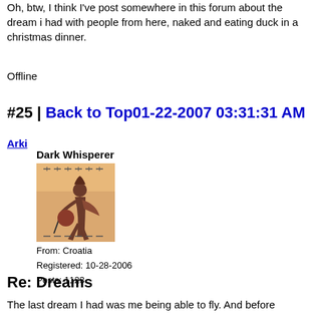Oh, btw, I think I've post somewhere in this forum about the dream i had with people from here, naked and eating duck in a christmas dinner.
Offline
#25 | Back to Top01-22-2007 03:31:31 AM
Arki
Dark Whisperer
[Figure (photo): Avatar image showing a silhouette figure in dark reddish-brown tones against a warm background]
From: Croatia
Registered: 10-28-2006
Posts: 1123
Re: Dreams
The last dream I had was me being able to fly. And before anyone